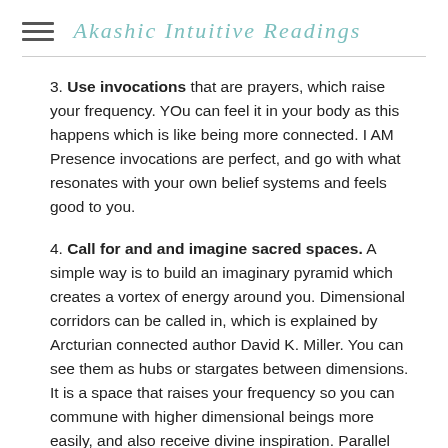Akashic Intuitive Readings
3. Use invocations that are prayers, which raise your frequency. YOu can feel it in your body as this happens which is like being more connected. I AM Presence invocations are perfect, and go with what resonates with your own belief systems and feels good to you.
4. Call for and and imagine sacred spaces. A simple way is to build an imaginary pyramid which creates a vortex of energy around you. Dimensional corridors can be called in, which is explained by Arcturian connected author David K. Miller. You can see them as hubs or stargates between dimensions. It is a space that raises your frequency so you can commune with higher dimensional beings more easily, and also receive divine inspiration. Parallel reality shifts are a really excellent tool. It isn't that you are changing location but changing to a different frequency reality such as the